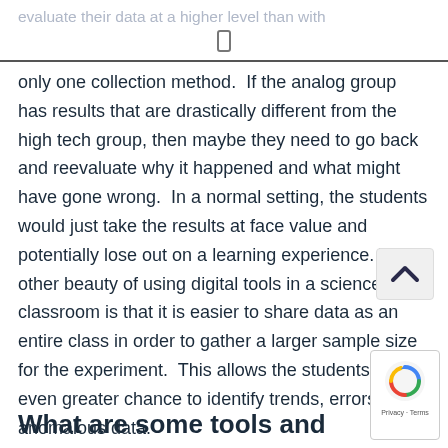evaluate their data at a higher level than with
only one collection method.  If the analog group has results that are drastically different from the high tech group, then maybe they need to go back and reevaluate why it happened and what might have gone wrong.  In a normal setting, the students would just take the results at face value and potentially lose out on a learning experience. The other beauty of using digital tools in a science classroom is that it is easier to share data as an entire class in order to gather a larger sample size for the experiment.  This allows the students an even greater chance to identify trends, errors, and anomalous data.
What are some tools and